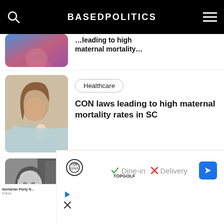BASEDPOLITICS
[Figure (photo): Partial image of woman in blue/pink top, cropped at top]
[Figure (photo): Woman breastfeeding/holding newborn baby]
Healthcare
CON laws leading to high maternal mortality rates in SC
[Figure (photo): Black and white photo of a woman smiling, appears to be Ayn Rand]
Culture
No, Ayn Rand wasn't a hypocrite
[Figure (other): TopGolf advertisement with Dine-in checkmark and Delivery X mark]